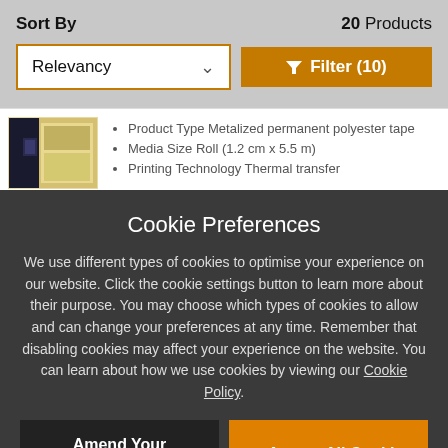Sort By
20 Products
Relevancy
Filter (10)
Product Type Metalized permanent polyester tape
Media Size Roll (1.2 cm x 5.5 m)
Printing Technology Thermal transfer
Cookie Preferences
We use different types of cookies to optimise your experience on our website. Click the cookie settings button to learn more about their purpose. You may choose which types of cookies to allow and can change your preferences at any time. Remember that disabling cookies may affect your experience on the website. You can learn about how we use cookies by viewing our Cookie Policy.
Amend Your Preference
Accept All Cookies